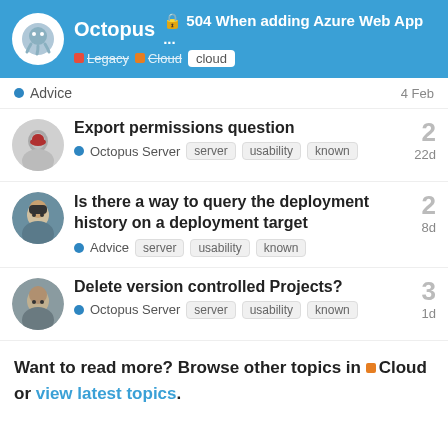Octopus — 504 When adding Azure Web App ... | Legacy | Cloud | cloud
Advice — 4 Feb
Export permissions question — Octopus Server — server, usability, known — 2 replies — 22d
Is there a way to query the deployment history on a deployment target — Advice — server, usability, known — 2 replies — 8d
Delete version controlled Projects? — Octopus Server — server, usability, known — 3 replies — 1d
Want to read more? Browse other topics in Cloud or view latest topics.